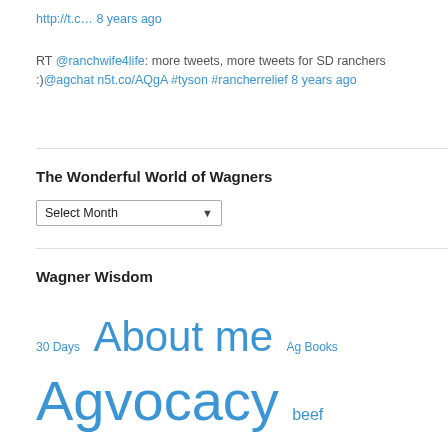http://t.c… 8 years ago
RT @ranchwife4life: more tweets, more tweets for SD ranchers :)@agchat n5t.co/AQgA #tyson #rancherrelief 8 years ago
The Wonderful World of Wagners
Select Month
Wagner Wisdom
30 Days  About me  Ag Books  Agvocacy  beef  Boys  Brothers  Calving  Cooking  Corn  Cows  Doctors  Farm Bureau  farm fun  Farm life  Food